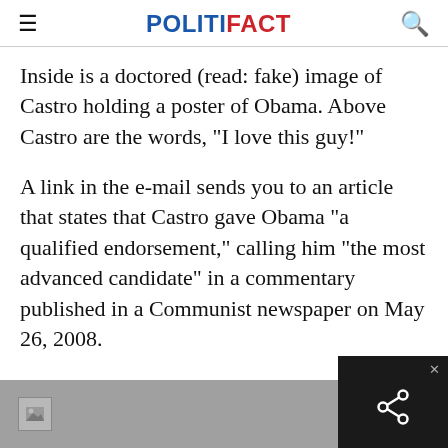POLITIFACT
Inside is a doctored (read: fake) image of Castro holding a poster of Obama. Above Castro are the words, "I love this guy!"
A link in the e-mail sends you to an article that states that Castro gave Obama "a qualified endorsement," calling him "the most advanced candidate" in a commentary published in a Communist newspaper on May 26, 2008.